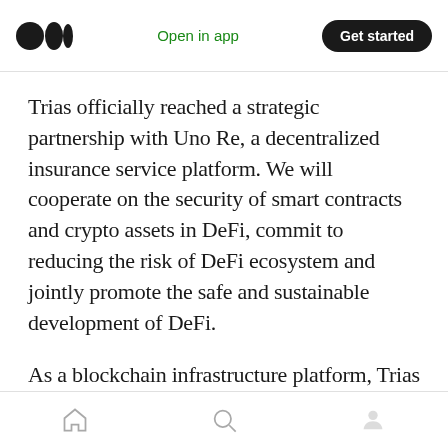Medium app header with logo, Open in app, Get started
Trias officially reached a strategic partnership with Uno Re, a decentralized insurance service platform. We will cooperate on the security of smart contracts and crypto assets in DeFi, commit to reducing the risk of DeFi ecosystem and jointly promote the safe and sustainable development of DeFi.
As a blockchain infrastructure platform, Trias will provide better security and privacy services for Uno Re in dif. 👏 100 | 💬 such as cross-chain, transaction and staking. Trias's security
Home | Search | Profile navigation icons